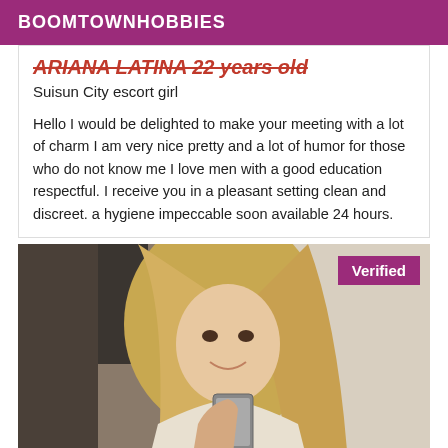BOOMTOWNHOBBIES
ARIANA LATINA 22 years old
Suisun City escort girl
Hello I would be delighted to make your meeting with a lot of charm I am very nice pretty and a lot of humor for those who do not know me I love men with a good education respectful. I receive you in a pleasant setting clean and discreet. a hygiene impeccable soon available 24 hours.
[Figure (photo): Woman with long blonde hair taking a selfie, 'Verified' badge in top right corner]